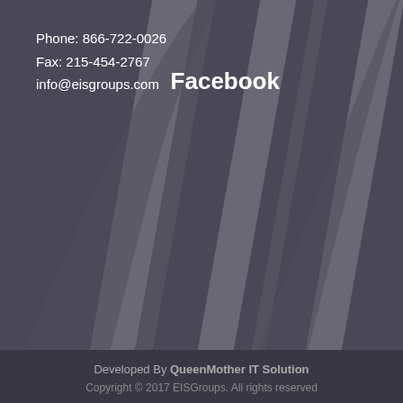Phone: 866-722-0026
Fax: 215-454-2767
info@eisgroups.com
Facebook
Developed By QueenMother IT Solution
Copyright © 2017 EISGroups. All rights reserved